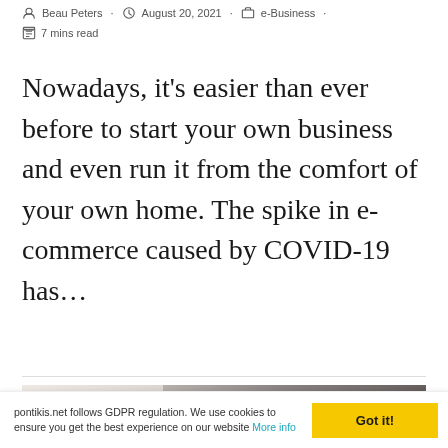Beau Peters · August 20, 2021 · e-Business · 7 mins read
Nowadays, it's easier than ever before to start your own business and even run it from the comfort of your own home. The spike in e-commerce caused by COVID-19 has…
Continue Reading ›
[Figure (photo): Photo of a laptop on a desk, partially visible, blurred background with warm tones]
pontikis.net follows GDPR regulation. We use cookies to ensure you get the best experience on our website More info   Got it!